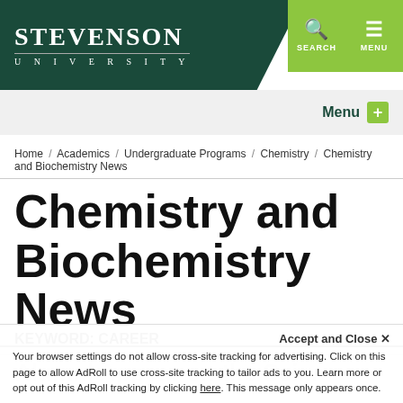[Figure (logo): Stevenson University logo — white text on dark green background with diagonal clip]
SEARCH   MENU
Menu +
Home / Academics / Undergraduate Programs / Chemistry / Chemistry and Biochemistry News
Chemistry and Biochemistry News
KEYWORD: CAREER
Alumni Appear on the Sci...
Accept and Close ×
Your browser settings do not allow cross-site tracking for advertising. Click on this page to allow AdRoll to use cross-site tracking to tailor ads to you. Learn more or opt out of this AdRoll tracking by clicking here. This message only appears once.